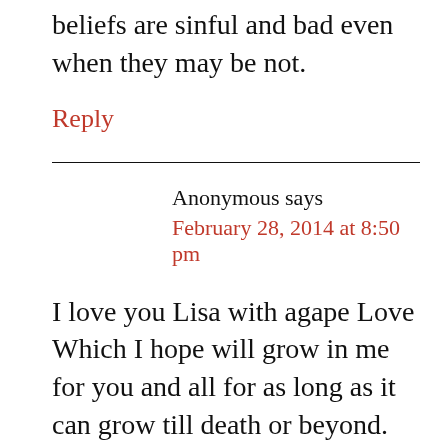beliefs are sinful and bad even when they may be not.
Reply
Anonymous says
February 28, 2014 at 8:50 pm
I love you Lisa with agape Love Which I hope will grow in me for you and all for as long as it can grow till death or beyond. And I will say; I have been presumptuous in my past and I fear some in my future